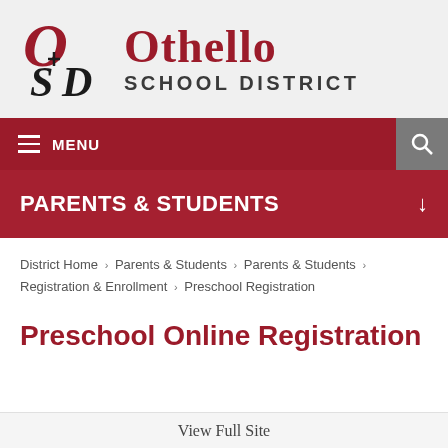[Figure (logo): Othello School District logo with stylized OSD letters in red and black]
Othello SCHOOL DISTRICT
MENU
PARENTS & STUDENTS
District Home > Parents & Students > Parents & Students > Registration & Enrollment > Preschool Registration
Preschool Online Registration
View Full Site